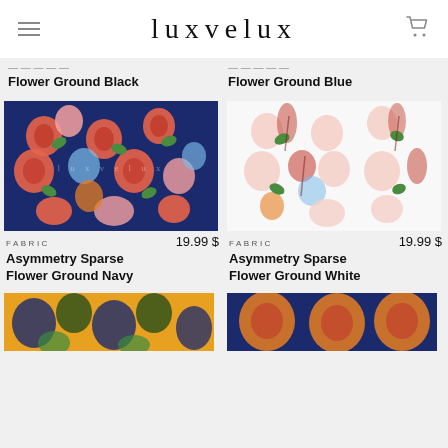luxvelux
Flower Ground Black
Flower Ground Blue
[Figure (photo): Dark navy blue fabric with asymmetric sparse flower pattern in red, pink, orange, and green tones with luxvelux watermark]
FABRIC  19.99 $
Asymmetry Sparse Flower Ground Navy
[Figure (photo): White fabric with asymmetric sparse flower pattern in red, brown, pink, blue, and green tones]
FABRIC  19.99 $
Asymmetry Sparse Flower Ground White
[Figure (photo): Partial view of yellow/gold fabric with blue and dark floral pattern]
[Figure (photo): Partial view of dark navy fabric with orange floral pattern]